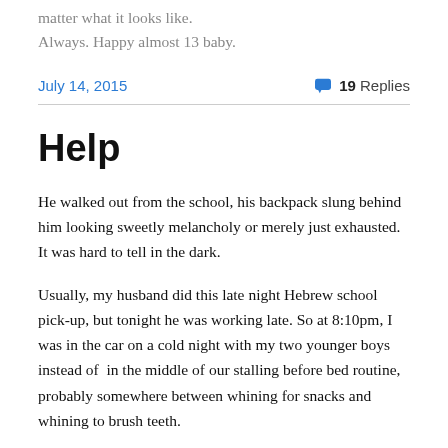matter what it looks like.
Always. Happy almost 13 baby.
July 14, 2015
19 Replies
Help
He walked out from the school, his backpack slung behind him looking sweetly melancholy or merely just exhausted. It was hard to tell in the dark.
Usually, my husband did this late night Hebrew school pick-up, but tonight he was working late. So at 8:10pm, I was in the car on a cold night with my two younger boys instead of  in the middle of our stalling before bed routine, probably somewhere between whining for snacks and whining to brush teeth.